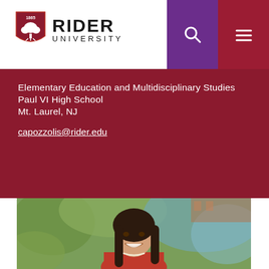[Figure (logo): Rider University logo with shield emblem (1865, tree) and text RIDER UNIVERSITY]
[Figure (other): Purple search button with magnifying glass icon]
[Figure (other): Dark red/maroon hamburger menu button]
Elementary Education and Multidisciplinary Studies
Paul VI High School
Mt. Laurel, NJ
capozzolis@rider.edu
[Figure (photo): Portrait photo of a young woman with long dark hair, smiling, wearing a red top and pearl necklace, with green blurred background]